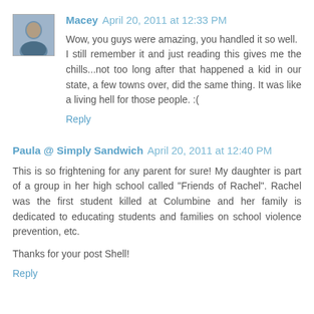[Figure (photo): Small avatar photo of a person (Macey) in blue tones]
Macey April 20, 2011 at 12:33 PM
Wow, you guys were amazing, you handled it so well. I still remember it and just reading this gives me the chills...not too long after that happened a kid in our state, a few towns over, did the same thing. It was like a living hell for those people. :(
Reply
Paula @ Simply Sandwich April 20, 2011 at 12:40 PM
This is so frightening for any parent for sure! My daughter is part of a group in her high school called "Friends of Rachel". Rachel was the first student killed at Columbine and her family is dedicated to educating students and families on school violence prevention, etc.
Thanks for your post Shell!
Reply